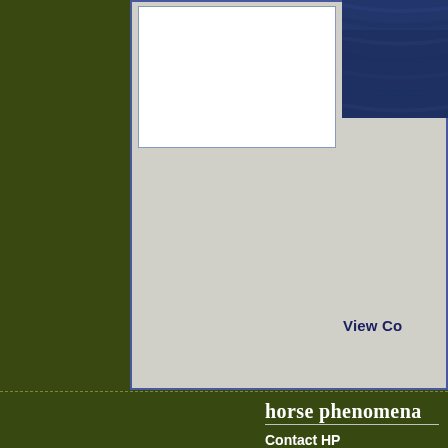[Figure (screenshot): Top portion of a website showing a white content box with a blue textured image in the upper right, on a dark olive green background. Shows partial text 'View Co' in dark navy.]
View Co
horse phenomena
Contact HP
Terms of Service
Privacy Policy
Rules
Merchandise
Credits
Meet the Team
recent forum ac
the person belov
Backups by Blitz
A random word!
CTRL-V by Oak □ 4
1-10 Things by O
Horse Phenomena © Samantha Harbiso